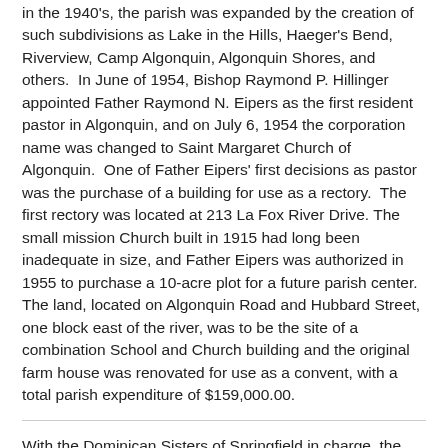in the 1940's, the parish was expanded by the creation of such subdivisions as Lake in the Hills, Haeger's Bend, Riverview, Camp Algonquin, Algonquin Shores, and others.  In June of 1954, Bishop Raymond P. Hillinger appointed Father Raymond N. Eipers as the first resident pastor in Algonquin, and on July 6, 1954 the corporation name was changed to Saint Margaret Church of Algonquin.  One of Father Eipers' first decisions as pastor was the purchase of a building for use as a rectory.  The first rectory was located at 213 La Fox River Drive. The small mission Church built in 1915 had long been inadequate in size, and Father Eipers was authorized in 1955 to purchase a 10-acre plot for a future parish center.  The land, located on Algonquin Road and Hubbard Street, one block east of the river, was to be the site of a combination School and Church building and the original farm house was renovated for use as a convent, with a total parish expenditure of $159,000.00.
With the Dominican Sisters of Springfield in charge, the school opened in September 1955, with 130 pupils in its first four grades and Sister Mary Estelle as the Principal. One grade was added each year so that by 1957 the enrollment for six grades was over 200 students and three Dominican Sister of Springfield and one lay teacher comprised the staff of the